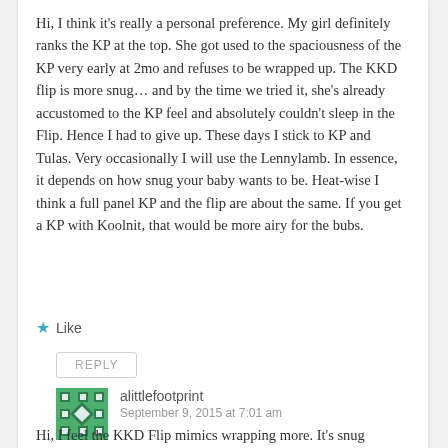Hi, I think it's really a personal preference. My girl definitely ranks the KP at the top. She got used to the spaciousness of the KP very early at 2mo and refuses to be wrapped up. The KKD flip is more snug… and by the time we tried it, she's already accustomed to the KP feel and absolutely couldn't sleep in the Flip. Hence I had to give up. These days I stick to KP and Tulas. Very occasionally I will use the Lennylamb. In essence, it depends on how snug your baby wants to be. Heat-wise I think a full panel KP and the flip are about the same. If you get a KP with Koolnit, that would be more airy for the bubs.
Like
REPLY
[Figure (illustration): Green and white patterned avatar icon for user alittlefootprint]
alittlefootprint
September 9, 2015 at 7:01 am
Hi, I feel the KKD Flip mimics wrapping more. It's snug